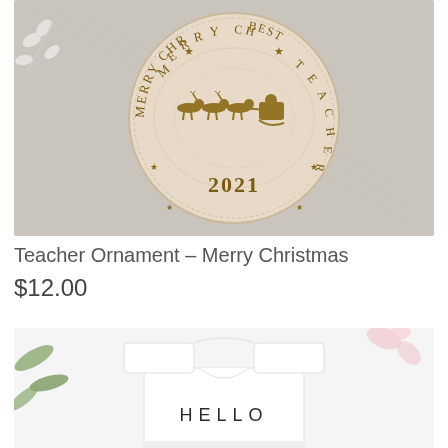[Figure (photo): A round wooden ornament with laser-engraved text reading 'MERRY CHRISTMAS BEST TEACHER' around the edge, with a Santa sleigh and reindeer in the center, and '2021' below. The ornament sits on a linen fabric background with a white leaf sprig in the top left corner.]
Teacher Ornament – Merry Christmas
$12.00
[Figure (photo): A white baby onesie/bodysuit laid flat on a light background with pink flower petals. The onesie has 'HELLO' printed on it in thin capital letters. Green leaves are visible on the left side.]